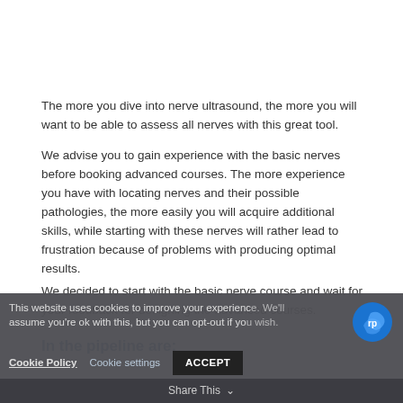The more you dive into nerve ultrasound, the more you will want to be able to assess all nerves with this great tool.
We advise you to gain experience with the basic nerves before booking advanced courses. The more experience you have with locating nerves and their possible pathologies, the more easily you will acquire additional skills, while starting with these nerves will rather lead to frustration because of problems with producing optimal results.
We decided to start with the basic nerve course and wait for your feedback for designing the advanced courses.
In the pipeline are:
This website uses cookies to improve your experience. We'll assume you're ok with this, but you can opt-out if you wish.
Cookie Policy   Cookie settings   ACCEPT
Share This